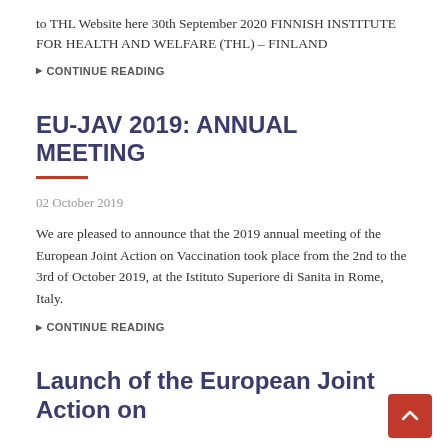to THL Website here 30th September 2020 FINNISH INSTITUTE FOR HEALTH AND WELFARE (THL) – FINLAND
▶ CONTINUE READING
EU-JAV 2019: ANNUAL MEETING
02 October 2019
We are pleased to announce that the 2019 annual meeting of the European Joint Action on Vaccination took place from the 2nd to the 3rd of October 2019, at the Istituto Superiore di Sanita in Rome, Italy.
▶ CONTINUE READING
Launch of the European Joint Action on